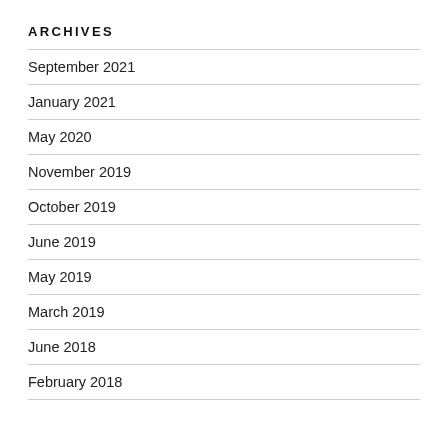ARCHIVES
September 2021
January 2021
May 2020
November 2019
October 2019
June 2019
May 2019
March 2019
June 2018
February 2018